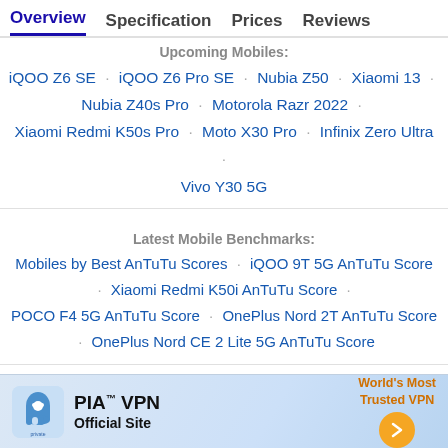Overview  Specification  Prices  Reviews
Upcoming Mobiles:
iQOO Z6 SE · iQOO Z6 Pro SE · Nubia Z50 · Xiaomi 13 · Nubia Z40s Pro · Motorola Razr 2022 · Xiaomi Redmi K50s Pro · Moto X30 Pro · Infinix Zero Ultra · Vivo Y30 5G
Latest Mobile Benchmarks:
Mobiles by Best AnTuTu Scores · iQOO 9T 5G AnTuTu Score · Xiaomi Redmi K50i AnTuTu Score · POCO F4 5G AnTuTu Score · OnePlus Nord 2T AnTuTu Score · OnePlus Nord CE 2 Lite 5G AnTuTu Score
[Figure (infographic): PIA VPN advertisement banner — Private Internet Access logo, text 'PIA™ VPN Official Site', tagline 'World's Most Trusted VPN', orange arrow button]